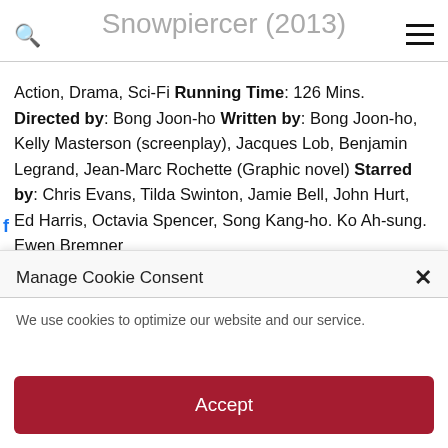Snowpiercer (2013)
Action, Drama, Sci-Fi Running Time: 126 Mins. Directed by: Bong Joon-ho Written by: Bong Joon-ho, Kelly Masterson (screenplay), Jacques Lob, Benjamin Legrand, Jean-Marc Rochette (Graphic novel) Starred by: Chris Evans, Tilda Swinton, Jamie Bell, John Hurt, Ed Harris, Octavia Spencer, Song Kang-ho. Ko Ah-sung. Ewen Bremner
Manage Cookie Consent
We use cookies to optimize our website and our service.
Accept